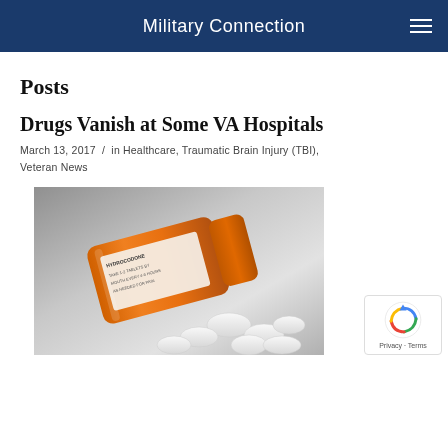Military Connection
Posts
Drugs Vanish at Some VA Hospitals
March 13, 2017 / in Healthcare, Traumatic Brain Injury (TBI), Veteran News
[Figure (photo): An orange prescription pill bottle labeled HYDROCODONE lying on its side with white pills spilled out beside it, on a gray gradient background.]